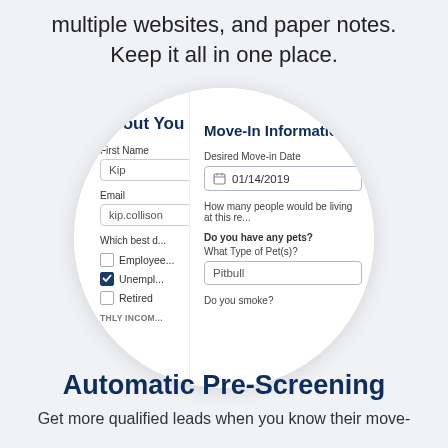multiple websites, and paper notes. Keep it all in one place.
[Figure (screenshot): A circular UI screenshot showing two overlapping application form panels: 'About You' (with First Name field showing 'Kip', Email field showing 'kip.collison', checkboxes for Employed, Unemployed (checked), Retired, and MONTHLY INCOME label) and 'Move-In Information' (with Desired Move-in Date field showing '01/14/2019', questions about number of people, pets with 'Pitbull' entered, and 'Do you smoke?')]
Automatic Pre-Screening
Get more qualified leads when you know their move-